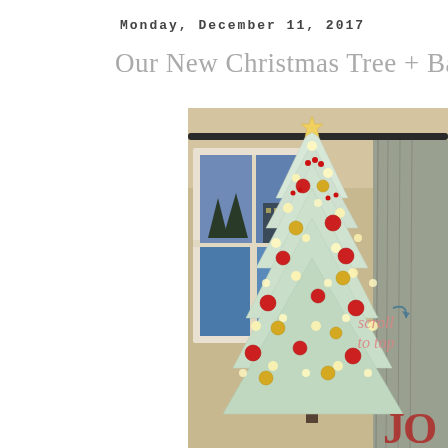Monday, December 11, 2017
Our New Christmas Tree + Basket Tre
[Figure (photo): A decorated white/flocked Christmas tree with red and gold ornaments and warm white lights, positioned in a room corner near a window. A grey curtain panel is visible on the right. A 'scroll to top' overlay text and partial 'JOY' sign appear on the right side of the image.]